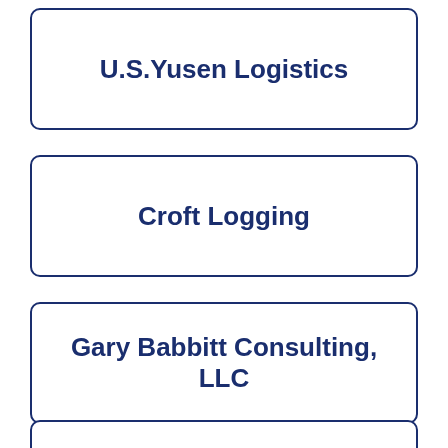U.S.Yusen Logistics
Croft Logging
Gary Babbitt Consulting, LLC
[Figure (other): Partially visible card box at bottom of page, contents not visible]